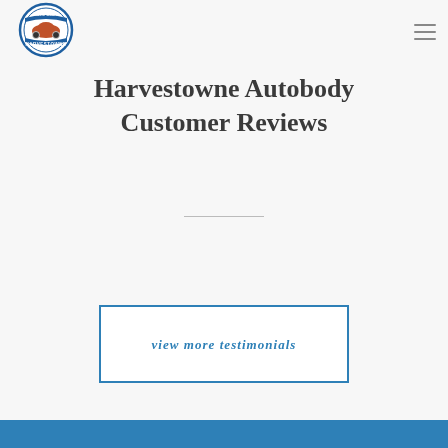[Figure (logo): Harvestowne Auto Body circular logo with car graphic and text]
Harvestowne Autobody Customer Reviews
view more testimonials